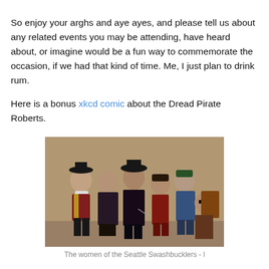So enjoy your arghs and aye ayes, and please tell us about any related events you may be attending, have heard about, or imagine would be a fun way to commemorate the occasion, if we had that kind of time. Me, I just plan to drink rum.

Here is a bonus xkcd comic about the Dread Pirate Roberts.
[Figure (photo): Group photo of six women dressed in pirate costumes, posed together. They are wearing period-style pirate attire including hats, swords, and colorful clothing. Background appears to be an indoor brick wall.]
The women of the Seattle Swashbucklers - l